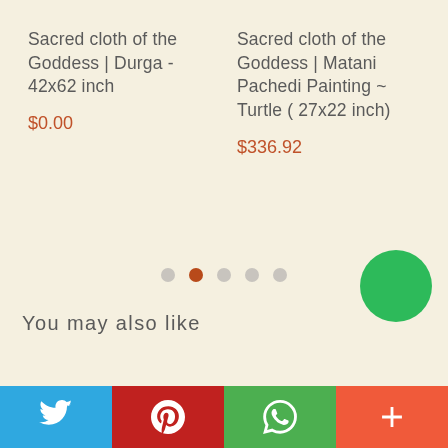Sacred cloth of the Goddess | Durga - 42x62 inch
$0.00
Sacred cloth of the Goddess | Matani Pachedi Painting ~ Turtle ( 27x22 inch)
$336.92
[Figure (other): Carousel pagination dots, 5 dots with the second active]
You may also like
[Figure (other): Green circle chat/support button]
[Figure (other): Social share bar with Twitter, Pinterest, WhatsApp, and More buttons]